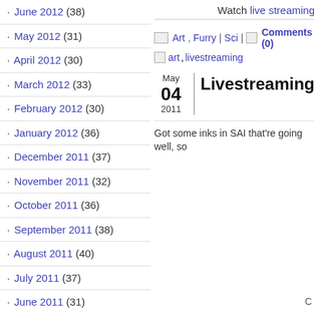· June 2012 (38)
· May 2012 (31)
· April 2012 (30)
· March 2012 (33)
· February 2012 (30)
· January 2012 (36)
· December 2011 (37)
· November 2011 (32)
· October 2011 (36)
· September 2011 (38)
· August 2011 (40)
· July 2011 (37)
· June 2011 (31)
· May 2011 (39)
· April 2011 (39)
· March 2011 (34)
· February 2011 (33)
· January 2011 (46)
· December 2010 (49)
Watch live streaming
Art, Furry | Sci | Comments (0)
art, livestreaming
Livestreaming
Got some inks in SAI that're going well, so